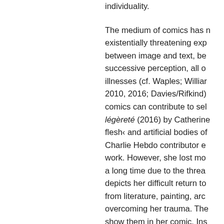individuality.
The medium of comics has n existentially threatening exp between image and text, be successive perception, all o illnesses (cf. Waples; Williar 2010, 2016; Davies/Rifkind) comics can contribute to sel légèreté (2016) by Catherine flesh‹ and artificial bodies of Charlie Hebdo contributor e work. However, she lost mo a long time due to the threa depicts her difficult return to from literature, painting, arc overcoming her trauma. The show them in her comic. Ins and lost limbs remind her of